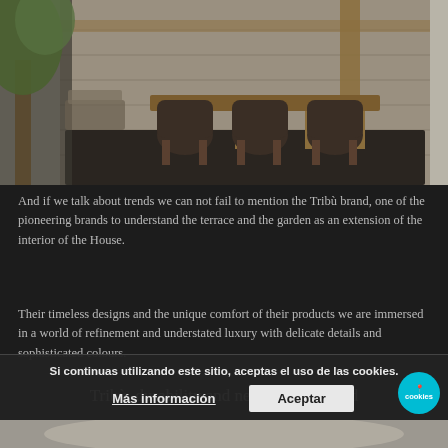[Figure (photo): Outdoor terrace with wooden dining table, wicker chairs with cushions, stone wall backdrop and tree in background]
And if we talk about trends we can not fail to mention the Tribù brand, one of the pioneering brands to understand the terrace and the garden as an extension of the interior of the House.
Their timeless designs and the unique comfort of their products we are immersed in a world of refinement and understated luxury with delicate details and sophisticated colours.
Tribù, durability and new materials and natural
[Figure (photo): Close-up of textured fabric or cushion material in neutral tones]
Si continuas utilizando este sitio, aceptas el uso de las cookies.
Más información
Aceptar